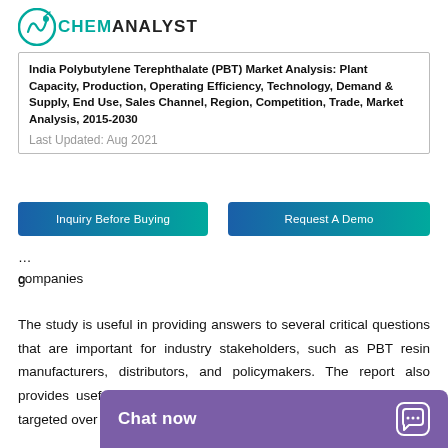[Figure (logo): ChemAnalyst logo with green circular icon and bold text]
India Polybutylene Terephthalate (PBT) Market Analysis: Plant Capacity, Production, Operating Efficiency, Technology, Demand & Supply, End Use, Sales Channel, Region, Competition, Trade, Market Analysis, 2015-2030
Last Updated: Aug 2021
Inquiry Before Buying
Request A Demo
companies
The study is useful in providing answers to several critical questions that are important for industry stakeholders, such as PBT resin manufacturers, distributors, and policymakers. The report also provides useful insights about which market segments should be targeted over the coming years to str
on growth opportunitie